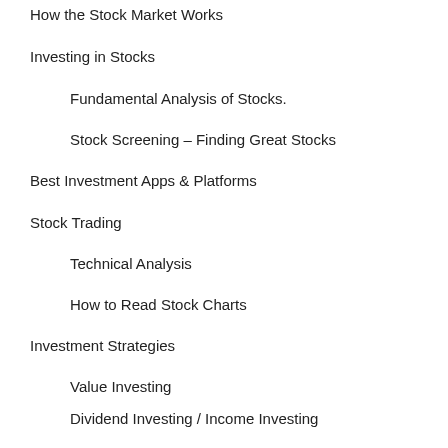How the Stock Market Works
Investing in Stocks
Fundamental Analysis of Stocks.
Stock Screening – Finding Great Stocks
Best Investment Apps & Platforms
Stock Trading
Technical Analysis
How to Read Stock Charts
Investment Strategies
Value Investing
Dividend Investing / Income Investing
Growth Investing
Ethical ESG Investing
ETF Investing
Robo Advisors